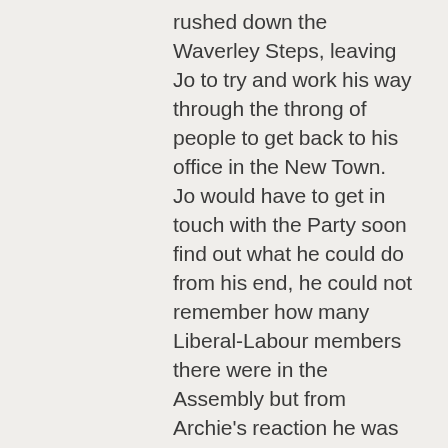rushed down the Waverley Steps, leaving Jo to try and work his way through the throng of people to get back to his office in the New Town. Jo would have to get in touch with the Party soon find out what he could do from his end, he could not remember how many Liberal-Labour members there were in the Assembly but from Archie's reaction he was inclined to believe there were enough to force Rosebury's government from a majority to minority. He considered for a moment waiting for the crowd to pass before setting off across Princes Street, but there was still no end in the tide of working class making their way to the future home of the Scottish Assembly.